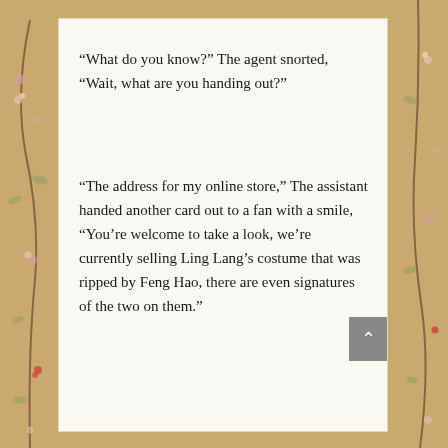“What do you know?” The agent snorted, “Wait, what are you handing out?”
“The address for my online store,” The assistant handed another card out to a fan with a smile, “You’re welcome to take a look, we’re currently selling Ling Lang’s costume that was ripped by Feng Hao, there are even signatures of the two on them.”